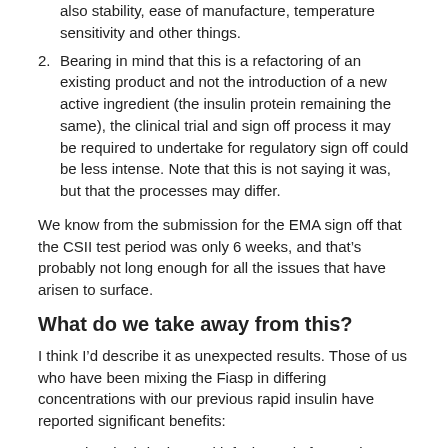also stability, ease of manufacture, temperature sensitivity and other things.
Bearing in mind that this is a refactoring of an existing product and not the introduction of a new active ingredient (the insulin protein remaining the same), the clinical trial and sign off process it may be required to undertake for regulatory sign off could be less intense. Note that this is not saying it was, but that the processes may differ.
We know from the submission for the EMA sign off that the CSII test period was only 6 weeks, and that’s probably not long enough for all the issues that have arisen to surface.
What do we take away from this?
I think I’d describe it as unexpected results. Those of us who have been mixing the Fiasp in differing concentrations with our previous rapid insulin have reported significant benefits:
on the site irritation and infusion pain front. It is almost like night and day.